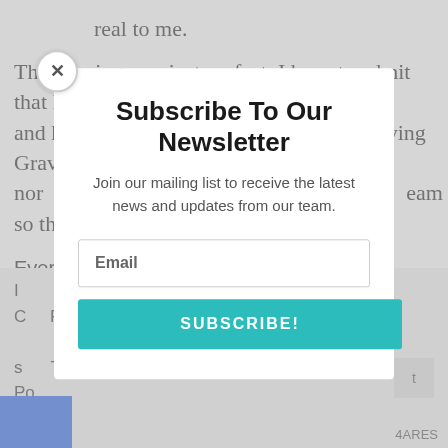real to me.
The evening was just perfect. I have to admit that I was and have been singing “Popular” and “Defying Gravity” nor... [partially obscured] ...eam so th...
Ever...
+Seg... [partially obscured] ...ded
of ho...
I...
C...
To
s...
Po...
[Figure (screenshot): Newsletter subscription modal overlay. Title: 'Subscribe To Our Newsletter'. Subtitle: 'Join our mailing list to receive the latest news and updates from our team.' Email input field labeled 'Email'. Subscribe button labeled 'SUBSCRIBE!' in teal. Close button (X) top-left of modal.]
HARES